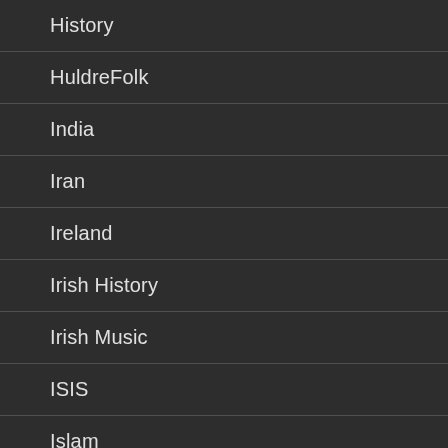History
HuldreFolk
India
Iran
Ireland
Irish History
Irish Music
ISIS
Islam
Islamic State